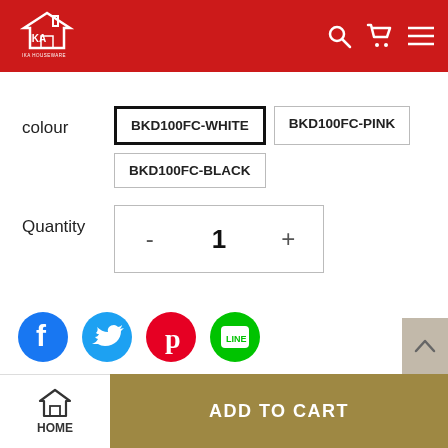[Figure (logo): IKA Houseware logo — white house icon with IKA text on red background header]
colour
BKD100FC-WHITE BKD100FC-PINK BKD100FC-BLACK
Quantity
- 1 +
[Figure (infographic): Social share icons: Facebook (blue), Twitter (blue), Pinterest (red), LINE (green)]
HOME
ADD TO CART